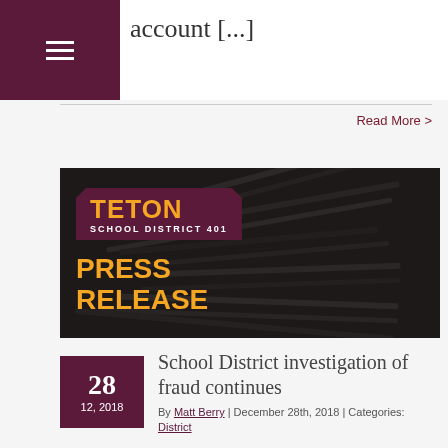account [...]
Read More >
[Figure (photo): Teton School District 401 Press Release image with dark newspaper background]
28
12, 2018
School District investigation of fraud continues
By Matt Berry | December 28th, 2018 | Categories: District